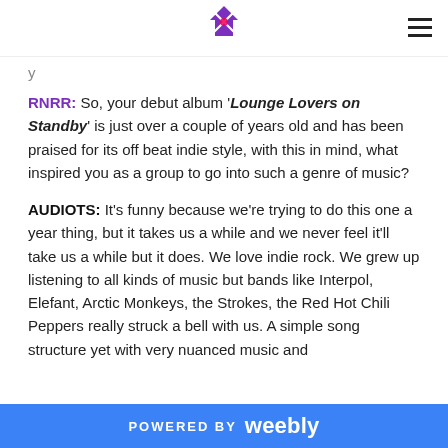[Logo: Ryum] [Hamburger menu]
y
RNRR: So, your debut album 'Lounge Lovers on Standby' is just over a couple of years old and has been praised for its off beat indie style, with this in mind, what inspired you as a group to go into such a genre of music?
AUDIOTS: It's funny because we're trying to do this one a year thing, but it takes us a while and we never feel it'll take us a while but it does. We love indie rock. We grew up listening to all kinds of music but bands like Interpol, Elefant, Arctic Monkeys, the Strokes, the Red Hot Chili Peppers really struck a bell with us. A simple song structure yet with very nuanced music and
POWERED BY weebly